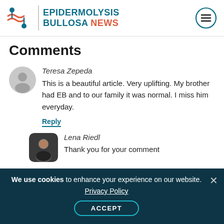[Figure (logo): Epidermolysis Bullosa News logo with stylized DNA/person icon and site name]
Comments
Teresa Zepeda
This is a beautiful article. Very uplifting. My brother had EB and to our family it was normal. I miss him everyday.
Reply
Lena Riedl
Thank you for your comment
We use cookies to enhance your experience on our website. Privacy Policy ACCEPT